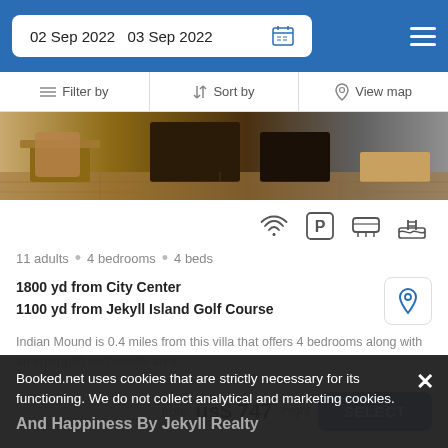02 Sep 2022  03 Sep 2022
Filter by  Sort by  View map
[Figure (photo): Interior photo of a vacation rental villa showing furniture and hardwood-style flooring]
11 adults · 4 bedrooms · 4 beds
1800 yd from City Center
1100 yd from Jekyll Island Golf Course
Indian Mound is 0.4 miles from this villa that offers 4 bedrooms along with an equipped kitchenette area.
from us$ 747/night  SELECT
Booked.net uses cookies that are strictly necessary for its functioning. We do not collect analytical and marketing cookies. And Happiness By Jekyll Realty